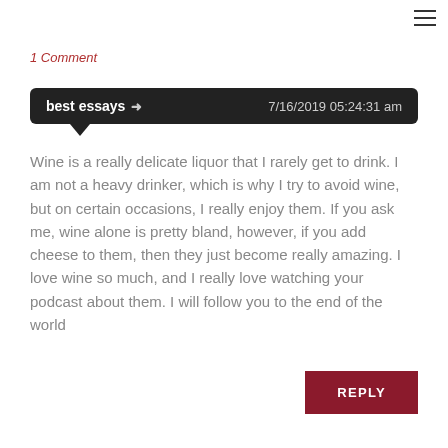1 Comment
best essays → 7/16/2019 05:24:31 am
Wine is a really delicate liquor that I rarely get to drink. I am not a heavy drinker, which is why I try to avoid wine, but on certain occasions, I really enjoy them. If you ask me, wine alone is pretty bland, however, if you add cheese to them, then they just become really amazing. I love wine so much, and I really love watching your podcast about them. I will follow you to the end of the world
REPLY